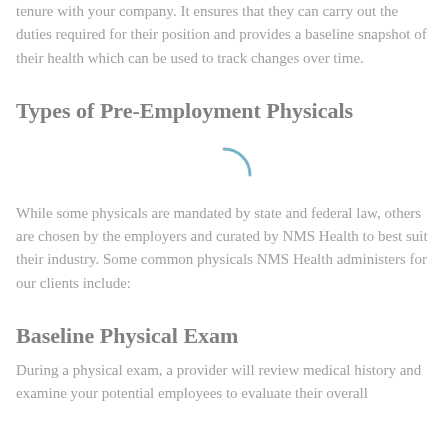tenure with your company. It ensures that they can carry out the duties required for their position and provides a baseline snapshot of their health which can be used to track changes over time.
Types of Pre-Employment Physicals
[Figure (other): A partial loading spinner arc in light blue/steel color]
While some physicals are mandated by state and federal law, others are chosen by the employers and curated by NMS Health to best suit their industry. Some common physicals NMS Health administers for our clients include:
Baseline Physical Exam
During a physical exam, a provider will review medical history and examine your potential employees to evaluate their overall